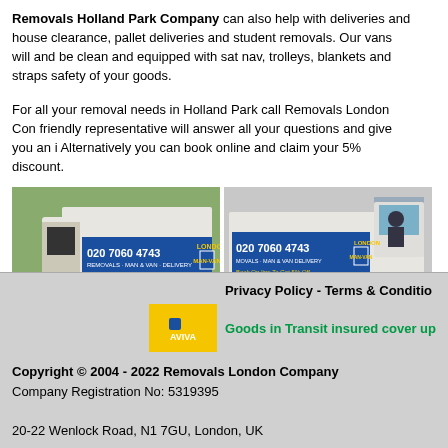Removals Holland Park Company can also help with deliveries and house clearance, pallet deliveries and student removals. Our vans will and be clean and equipped with sat nav, trolleys, blankets and straps safety of your goods.
For all your removal needs in Holland Park call Removals London Com friendly representative will answer all your questions and give you an i Alternatively you can book online and claim your 5% discount.
[Figure (photo): Two removal vans with London Man Van branding, phone number 020 7060 4743 and website www.LONDON-MAN-VAN.com]
Privacy Policy - Terms & Conditio
[Figure (logo): Aviva logo yellow badge]
Goods in Transit insured cover up
Copyright © 2004 - 2022 Removals London Company
Company Registration No: 5319395

20-22 Wenlock Road, N1 7GU, London, UK